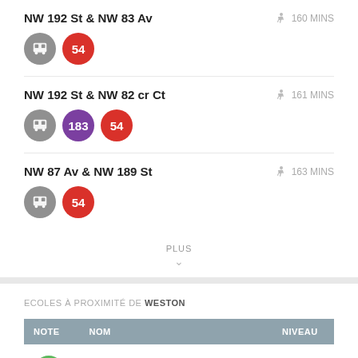NW 192 St & NW 83 Av — 160 MINS, Route 54
NW 192 St & NW 82 cr Ct — 161 MINS, Routes 183, 54
NW 87 Av & NW 189 St — 163 MINS, Route 54
PLUS
ECOLES À PROXIMITÉ DE WESTON
| NOTE | NOM | NIVEAU |
| --- | --- | --- |
| 10 | Everglades Elementary School | PK-5 |